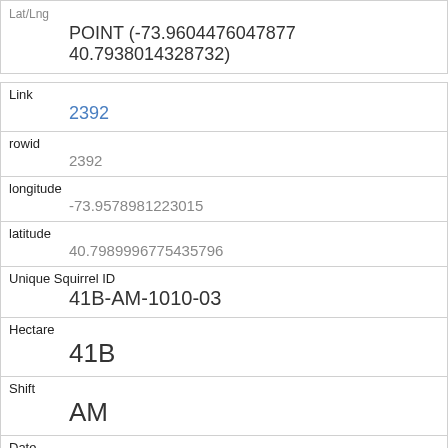| Lat/Lng | POINT (-73.9604476047877 40.7938014328732) |
| Link | 2392 |
| rowid | 2392 |
| longitude | -73.9578981223015 |
| latitude | 40.7989996775435796 |
| Unique Squirrel ID | 41B-AM-1010-03 |
| Hectare | 41B |
| Shift | AM |
| Date | 10102018 |
| Hectare Squirrel Number | 3 |